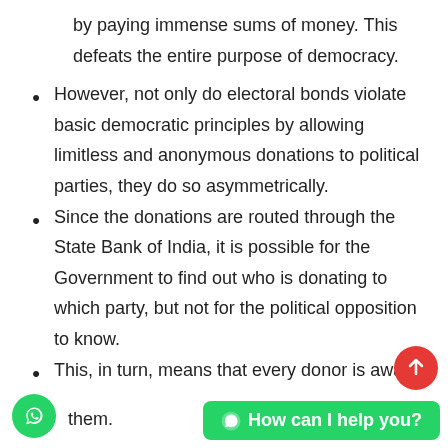by paying immense sums of money. This defeats the entire purpose of democracy.
However, not only do electoral bonds violate basic democratic principles by allowing limitless and anonymous donations to political parties, they do so asymmetrically.
Since the donations are routed through the State Bank of India, it is possible for the Government to find out who is donating to which party, but not for the political opposition to know.
This, in turn, means that every donor is aware that the central government can trace their donations back to them.